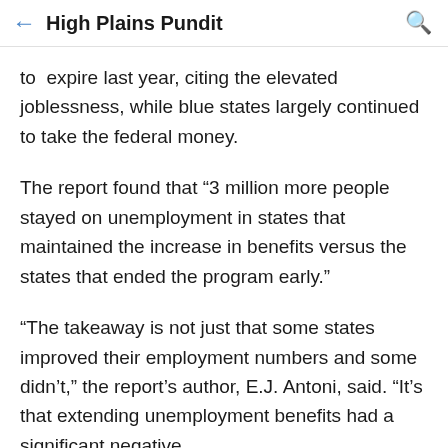High Plains Pundit
to  expire last year, citing the elevated joblessness, while blue states largely continued to take the federal money.
The report found that “3 million more people stayed on unemployment in states that maintained the increase in benefits versus the states that ended the program early.”
“The takeaway is not just that some states improved their employment numbers and some didn’t,” the report’s author, E.J. Antoni, said. “It’s that extending unemployment benefits had a significant negative